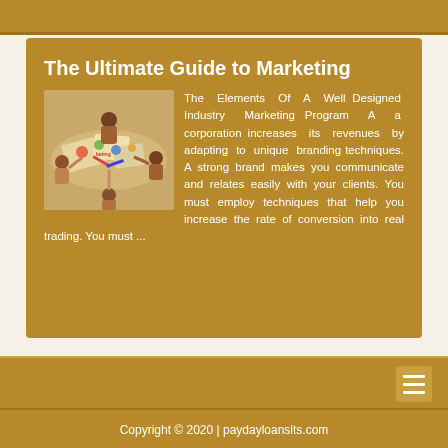The Ultimate Guide to Marketing
[Figure (photo): People sitting around a table working on colorful marketing/design materials]
The Elements Of A Well Designed Industry Marketing Program A a corporation increases its revenues by adapting to unique branding techniques. A strong brand makes you communicate and relates easily with your clients. You must employ techniques that help you increase the rate of conversion into real trading. You must ...
Copyright © 2020 | paydayloanslts.com